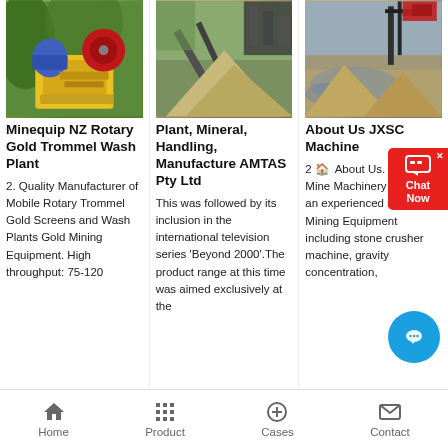[Figure (photo): Mining equipment - Minequip NZ Rotary Gold Trommel Wash Plant machinery with blue and red parts against green hillside]
Minequip NZ Rotary Gold Trommel Wash Plant
2. Quality Manufacturer of Mobile Rotary Trommel Gold Screens and Wash Plants Gold Mining Equipment. High throughput: 75-120
[Figure (photo): Plant and mineral handling facility with conveyor belts and industrial equipment]
Plant, Mineral, Handling, Manufacture AMTAS Pty Ltd
This was followed by its inclusion in the international television series 'Beyond 2000'.The product range at this time was aimed exclusively at the
[Figure (photo): Mining site with heavy machinery and equipment near water/sand]
About Us JXSC Machine
2 🏠  About Us. JXSC Mine Machinery Factory is an experienced supplier of Mining Equipment including stone crusher machine, gravity concentration,
Home   Product   Cases   Contact